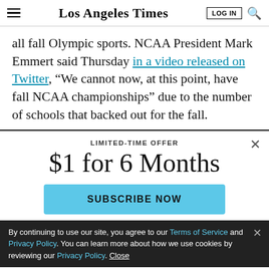Los Angeles Times
all fall Olympic sports. NCAA President Mark Emmert said Thursday in a video released on Twitter, “We cannot now, at this point, have fall NCAA championships” due to the number of schools that backed out for the fall.
LIMITED-TIME OFFER
$1 for 6 Months
SUBSCRIBE NOW
By continuing to use our site, you agree to our Terms of Service and Privacy Policy. You can learn more about how we use cookies by reviewing our Privacy Policy. Close